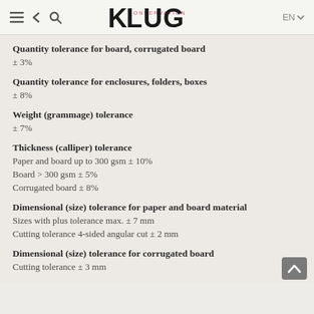KLUG CONSERVATION — EN
Quantity tolerance for board, corrugated board
± 3%
Quantity tolerance for enclosures, folders, boxes
± 8%
Weight (grammage) tolerance
± 7%
Thickness (calliper) tolerance
Paper and board up to 300 gsm ± 10%
Board > 300 gsm ± 5%
Corrugated board ± 8%
Dimensional (size) tolerance for paper and board material
Sizes with plus tolerance max. ± 7 mm
Cutting tolerance 4-sided angular cut ± 2 mm
Dimensional (size) tolerance for corrugated board
Cutting tolerance ± 3 mm